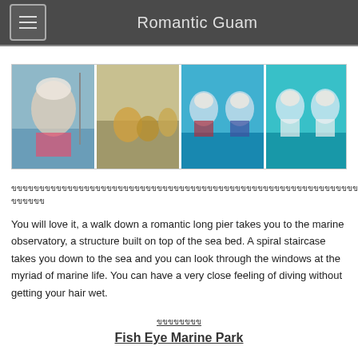Romantic Guam
[Figure (photo): Strip of three underwater and marine activity photos: woman on boat, coral reef underwater, and groups of people wearing underwater helmet diving gear]
□□□□□□□□□□□□□□□□□□□□□□□□□□□□□□□□□□□□□□□□□□□□□□□□□□□□□□□□□□□□□□□□□□□□□□□□□□□□□□□□□□□□□□□□□□□□□□□□□□□□□□□□□□□□□□□□□□□□□□□□□□□□□□□□□□□□ □□□□□□
You will love it, a walk down a romantic long pier takes you to the marine observatory, a structure built on top of the sea bed.  A spiral staircase takes you down to the sea and you can look through the windows at the myriad of marine life.  You can have a very close feeling of diving without getting your hair wet.
□□□□□□□□
Fish Eye Marine Park